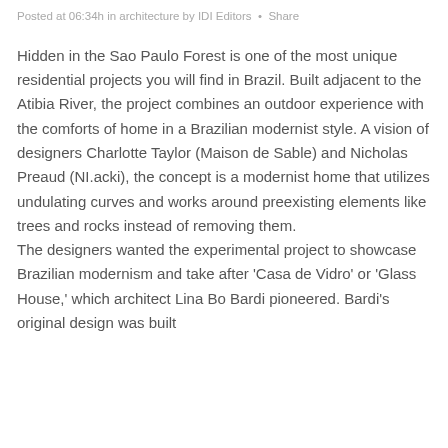Posted at 06:34h in architecture by IDI Editors · Share
Hidden in the Sao Paulo Forest is one of the most unique residential projects you will find in Brazil. Built adjacent to the Atibia River, the project combines an outdoor experience with the comforts of home in a Brazilian modernist style. A vision of designers Charlotte Taylor (Maison de Sable) and Nicholas Preaud (NI.acki), the concept is a modernist home that utilizes undulating curves and works around preexisting elements like trees and rocks instead of removing them. The designers wanted the experimental project to showcase Brazilian modernism and take after 'Casa de Vidro' or 'Glass House,' which architect Lina Bo Bardi pioneered. Bardi's original design was built